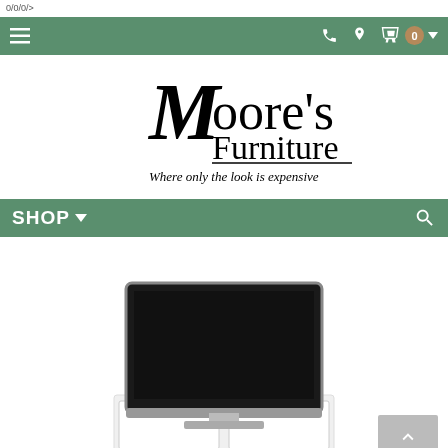0/0/0/>
[Figure (screenshot): Green navigation bar with hamburger menu icon on left, phone icon, location pin icon, shopping cart icon with badge showing 0, and dropdown arrow on right]
[Figure (logo): Moore's Furniture logo in elegant serif script with tagline 'Where only the look is expensive']
[Figure (screenshot): Green shop navigation bar with SHOP text and dropdown arrow on left, search magnifying glass icon on right]
[Figure (photo): Product photo of a flat screen TV mounted on a white TV stand/media console with glass door panels]